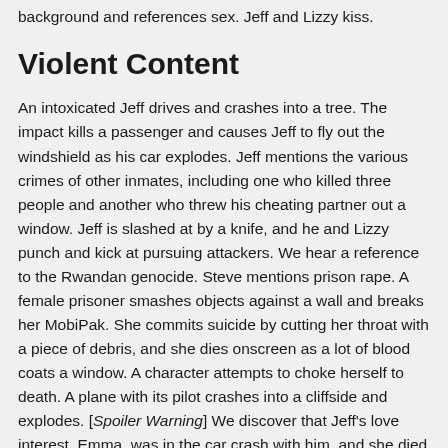background and references sex. Jeff and Lizzy kiss.
Violent Content
An intoxicated Jeff drives and crashes into a tree. The impact kills a passenger and causes Jeff to fly out the windshield as his car explodes. Jeff mentions the various crimes of other inmates, including one who killed three people and another who threw his cheating partner out a window. Jeff is slashed at by a knife, and he and Lizzy punch and kick at pursuing attackers. We hear a reference to the Rwandan genocide. Steve mentions prison rape. A female prisoner smashes objects against a wall and breaks her MobiPak. She commits suicide by cutting her throat with a piece of debris, and she dies onscreen as a lot of blood coats a window. A character attempts to choke herself to death. A plane with its pilot crashes into a cliffside and explodes. [Spoiler Warning] We discover that Jeff's love interest, Emma, was in the car crash with him, and she died when it exploded. We also find out that